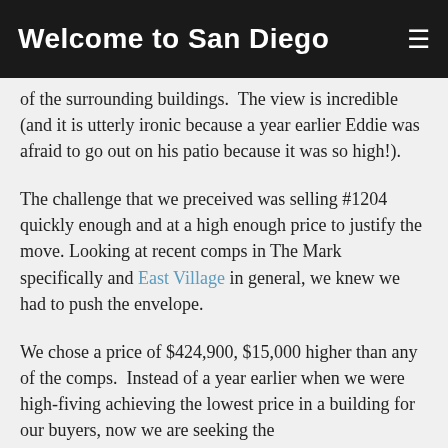Welcome to San Diego
of the surrounding buildings.  The view is incredible (and it is utterly ironic because a year earlier Eddie was afraid to go out on his patio because it was so high!).
The challenge that we preceived was selling #1204 quickly enough and at a high enough price to justify the move. Looking at recent comps in The Mark specifically and East Village in general, we knew we had to push the envelope.
We chose a price of $424,900, $15,000 higher than any of the comps.  Instead of a year earlier when we were high-fiving achieving the lowest price in a building for our buyers, now we are seeking the